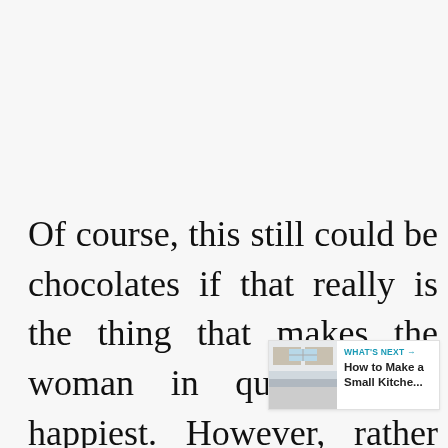Of course, this still could be chocolates if that really is the thing that makes the woman in question the happiest. However, rather than simply selecting a standard box from the local supermarket, how about visiting a specialist c and personalising the selection? Choose
[Figure (other): A 'What's Next' widget showing a thumbnail image of a kitchen and the text 'How to Make a Small Kitche...']